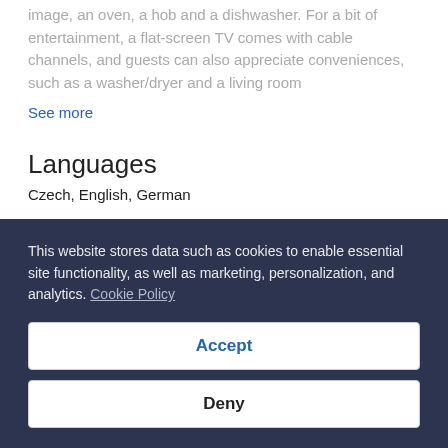image, an oven, a hob and a dishwasher. For a bit of entertainment, a flat-screen TV comes with cable channels, and guests can also appreciate conveniences, such as a washer/dryer and a living room
See more
Languages
Czech, English, German
Cleaning and safety practices
This website stores data such as cookies to enable essential site functionality, as well as marketing, personalization, and analytics. Cookie Policy
Accept
Deny